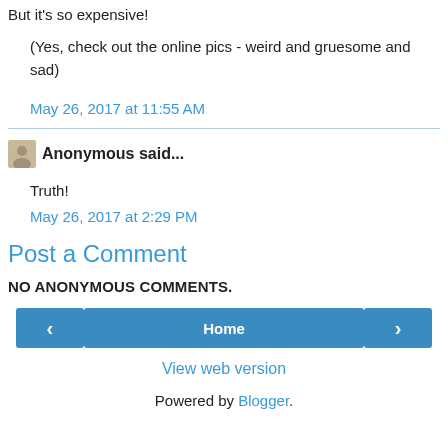But it's so expensive!
(Yes, check out the online pics - weird and gruesome and sad)
May 26, 2017 at 11:55 AM
Anonymous said...
Truth!
May 26, 2017 at 2:29 PM
Post a Comment
NO ANONYMOUS COMMENTS.
Home
View web version
Powered by Blogger.